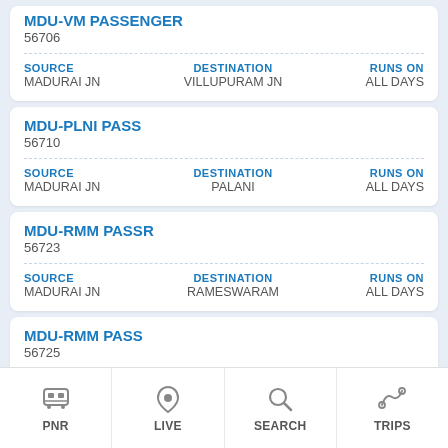MDU-VM PASSENGER
56706
SOURCE: MADURAI JN | DESTINATION: VILLUPURAM JN | RUNS ON: ALL DAYS
MDU-PLNI PASS
56710
SOURCE: MADURAI JN | DESTINATION: PALANI | RUNS ON: ALL DAYS
MDU-RMM PASSR
56723
SOURCE: MADURAI JN | DESTINATION: RAMESWARAM | RUNS ON: ALL DAYS
MDU-RMM PASS
56725
SOURCE: MADURAI JN | DESTINATION: RAMESWARAM | RUNS ON: ALL DAYS
PNR | LIVE | SEARCH | TRIPS